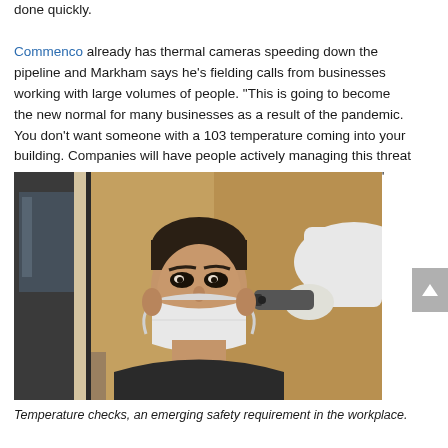done quickly. Commenco already has thermal cameras speeding down the pipeline and Markham says he's fielding calls from businesses working with large volumes of people. "This is going to become the new normal for many businesses as a result of the pandemic. You don't want someone with a 103 temperature coming into your building. Companies will have people actively managing this threat and developing tight processes for dealing with it in real-time."
[Figure (photo): A person in protective white clothing and gloves holds a forehead thermometer to a masked man sitting in a car, performing a temperature check.]
Temperature checks, an emerging safety requirement in the workplace.